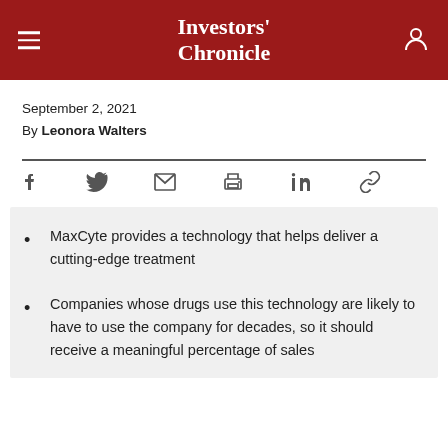Investors' Chronicle
September 2, 2021
By Leonora Walters
MaxCyte provides a technology that helps deliver a cutting-edge treatment
Companies whose drugs use this technology are likely to have to use the company for decades, so it should receive a meaningful percentage of sales